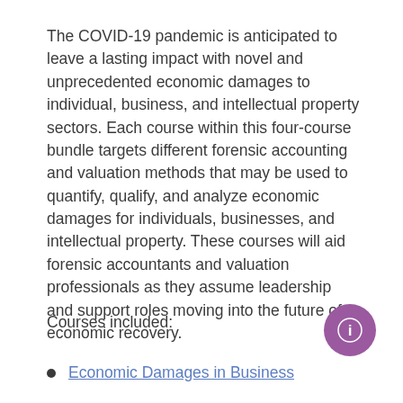The COVID-19 pandemic is anticipated to leave a lasting impact with novel and unprecedented economic damages to individual, business, and intellectual property sectors. Each course within this four-course bundle targets different forensic accounting and valuation methods that may be used to quantify, qualify, and analyze economic damages for individuals, businesses, and intellectual property. These courses will aid forensic accountants and valuation professionals as they assume leadership and support roles moving into the future of economic recovery.
Courses included:
Economic Damages in Business